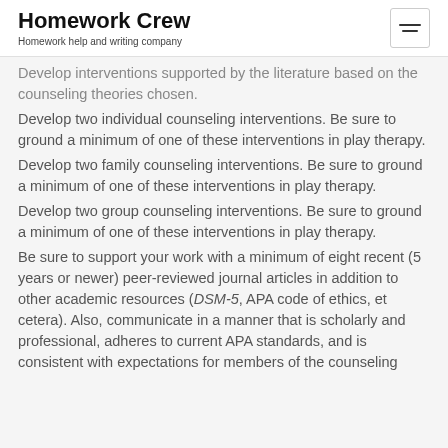Homework Crew
Homework help and writing company
Develop interventions supported by the literature based on the counseling theories chosen.
Develop two individual counseling interventions. Be sure to ground a minimum of one of these interventions in play therapy.
Develop two family counseling interventions. Be sure to ground a minimum of one of these interventions in play therapy.
Develop two group counseling interventions. Be sure to ground a minimum of one of these interventions in play therapy.
Be sure to support your work with a minimum of eight recent (5 years or newer) peer-reviewed journal articles in addition to other academic resources (DSM-5, APA code of ethics, et cetera). Also, communicate in a manner that is scholarly and professional, adheres to current APA standards, and is consistent with expectations for members of the counseling